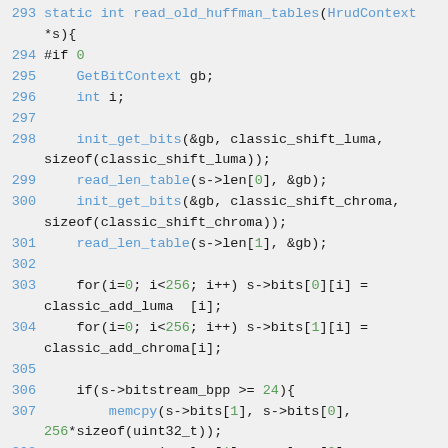[Figure (screenshot): Source code snippet in C showing lines 293-310 of a function read_old_huffman_tables, with syntax highlighting: line numbers in blue, function names in blue, numeric literals in green, on a light gray background.]